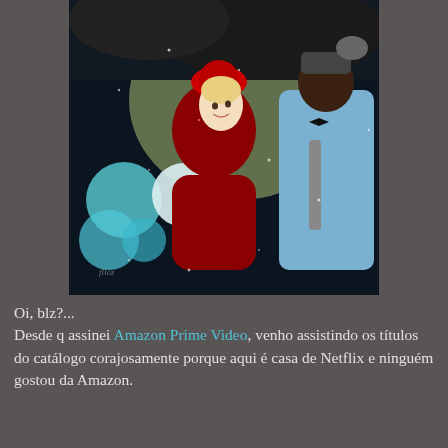[Figure (illustration): A digital illustration showing two characters in a rainy scene: a woman in a red Victorian-era dress and red hat, smiling upward, and a tall dark-skinned man in a suit holding a black umbrella, wearing a helmet with an animal on top. White and teal flowers are in the background with a glowing yellowish-green light. Snow or rain appears to be falling.]
Oi, blz?...
Desde q assinei Amazon Prime Video, venho assistindo os títulos do catálogo corajosamente porque aqui é casa de Netflix e ninguém gostou da Amazon.